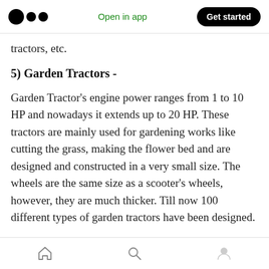Open in app | Get started
tractors, etc.
5) Garden Tractors -
Garden Tractor's engine power ranges from 1 to 10 HP and nowadays it extends up to 20 HP. These tractors are mainly used for gardening works like cutting the grass, making the flower bed and are designed and constructed in a very small size. The wheels are the same size as a scooter's wheels, however, they are much thicker. Till now 100 different types of garden tractors have been designed.
Home | Search | Profile